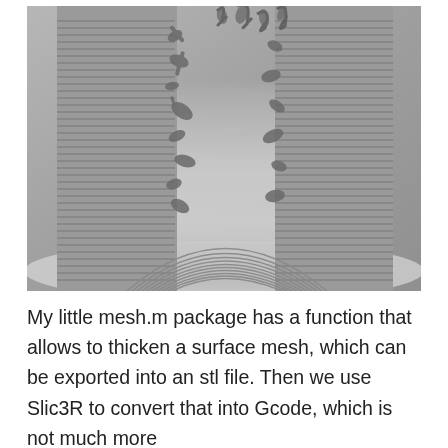[Figure (photo): Black and white close-up photograph of a 3D-printed clay or concrete object showing layered concentric rings with organic growths or supports attached to the surface, resembling a vase or vessel with mushroom-like protrusions.]
My little mesh.m package has a function that allows to thicken a surface mesh, which can be exported into an stl file. Then we use Slic3R to convert that into Gcode, which is not much more